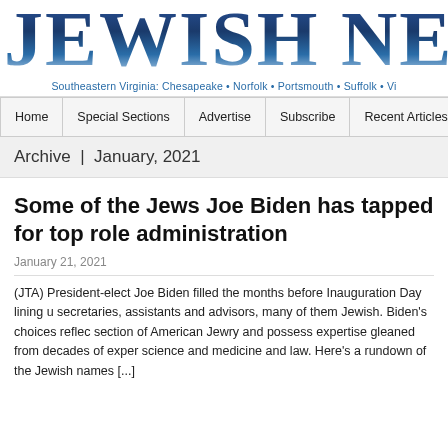JEWISH NE
Southeastern Virginia: Chesapeake • Norfolk • Portsmouth • Suffolk • Vi
Home | Special Sections | Advertise | Subscribe | Recent Articles | Archives
Archive | January, 2021
Some of the Jews Joe Biden has tapped for top role administration
January 21, 2021
(JTA) President-elect Joe Biden filled the months before Inauguration Day lining u secretaries, assistants and advisors, many of them Jewish. Biden's choices reflec section of American Jewry and possess expertise gleaned from decades of exper science and medicine and law. Here's a rundown of the Jewish names [...]